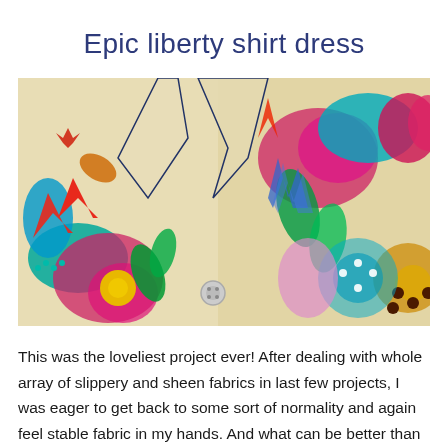Epic liberty shirt dress
[Figure (photo): Close-up photograph of a colorful Liberty fabric shirt dress collar and bodice on a dressmaker's mannequin. The fabric features a vibrant psychedelic floral and paisley pattern in teal, magenta, red, orange, yellow, blue, and green on a cream background.]
This was the loveliest project ever! After dealing with whole array of slippery and sheen fabrics in last few projects, I was eager to get back to some sort of normality and again feel stable fabric in my hands. And what can be better than lovely liberty fabric and